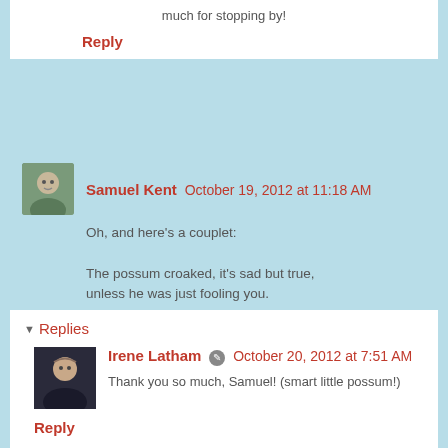much for stopping by!
Reply
Samuel Kent  October 19, 2012 at 11:18 AM
Oh, and here's a couplet:

The possum croaked, it's sad but true,
unless he was just fooling you.
Reply
Replies
Irene Latham  October 20, 2012 at 7:51 AM
Thank you so much, Samuel! (smart little possum!)
Reply